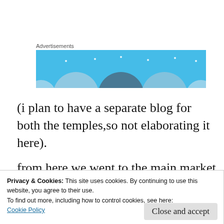Advertisements
[Figure (illustration): Advertisement banner with light blue background and circular/arc shapes in varying shades of blue-grey with small star/sparkle elements]
(i plan to have a separate blog for both the temples,so not elaborating it here).
from here we went to the main market square asked for directions to the church and began!
Privacy & Cookies: This site uses cookies. By continuing to use this website, you agree to their use.
To find out more, including how to control cookies, see here:
Cookie Policy
Close and accept
[Figure (photo): Bottom strip showing what appears to be a road/travel sign with text 'Incredible India' and 'Unforgettable Himachal']